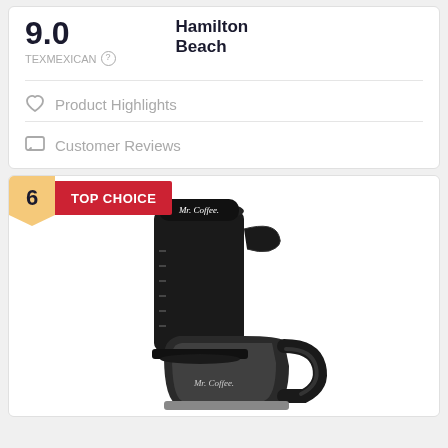9.0
TEXMEXICAN
Hamilton Beach
Product Highlights
Customer Reviews
6
TOP CHOICE
[Figure (photo): Black Mr. Coffee drip coffee maker with glass carafe on a white background]